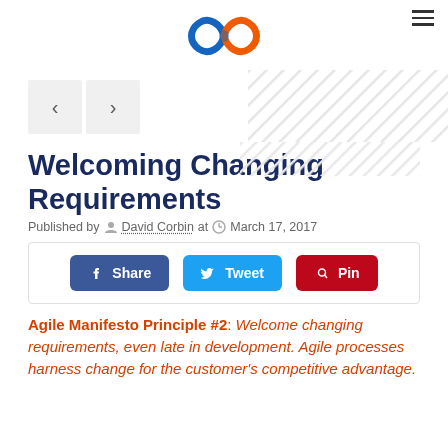[Figure (logo): Infinity symbol logo in blue and orange]
Welcoming Changing Requirements
Published by David Corbin at March 17, 2017
[Figure (infographic): Social share buttons: Share (Facebook), Tweet (Twitter), Pin (Pinterest)]
Agile Manifesto Principle #2: Welcome changing requirements, even late in development. Agile processes harness change for the customer's competitive advantage.